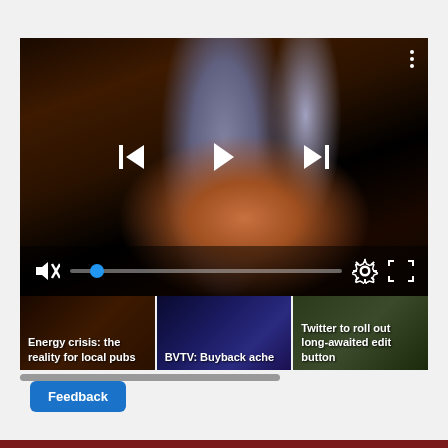[Figure (screenshot): Video player showing a dark scene with hands/beer tap. Controls visible: skip-back, play, skip-forward buttons in center; mute icon, volume slider with blue dot, settings gear icon, fullscreen icon at bottom. Three-dot menu in top right corner.]
[Figure (photo): Thumbnail 1: Energy crisis: the reality for local pubs - dark image of bar tap]
[Figure (photo): Thumbnail 2: BVTV: Buyback ache - stock exchange screens]
[Figure (photo): Thumbnail 3: Twitter to roll out long-awaited edit button - green/dark image]
Feedback